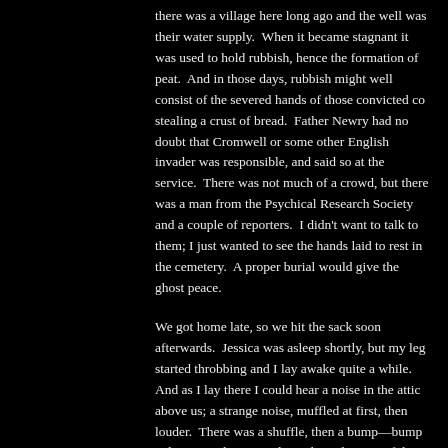there was a village here long ago and the well was their water supply.  When it became stagnant it was used to hold rubbish, hence the formation of peat.  And in those days, rubbish might well consist of the severed hands of those convicted co stealing a crust of bread.  Father Newry had no doubt that Cromwell or some other English invader was responsible, and said so at the service.  There was not much of a crowd, but there was a man from the Psychical Research Society and a couple of reporters.  I didn't want to talk to them; I just wanted to see the hands laid to rest in the cemetery.  A proper burial would give the ghost peace.
We got home late, so we hit the sack soon afterwards.  Jessica was asleep shortly, but my leg started throbbing and I lay awake quite a while.  And as I lay there I could hear a noise in the attic above us; a strange noise, muffled at first, then louder.  There was a shuffle, then a bump—bump—bump on the stairs, then a long, low, painful moan such as might come from the ghost of a severed head.